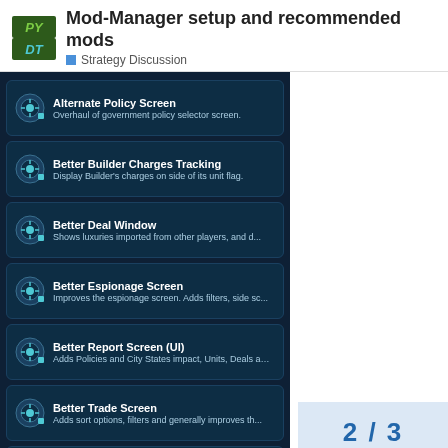Mod-Manager setup and recommended mods
Strategy Discussion
Alternate Policy Screen — Overhaul of government policy selector screen.
Better Builder Charges Tracking — Display Builder's charges on side of its unit flag.
Better Deal Window — Shows luxuries imported from other players, and d...
Better Espionage Screen — Improves the espionage screen. Adds filters, side sc...
Better Report Screen (UI) — Adds Policies and City States impact, Units, Deals an...
Better Trade Screen — Adds sort options, filters and generally improves th...
Concise UI — For a better gaming experience.
Detailed Map Tacks — Show yields and adjacency bonuses for your map ta...
Enhanced Mod Manager — Overhaul of the mod manager screen by FinalFreak16
Environment Skin: Sid Meier's
2 / 3